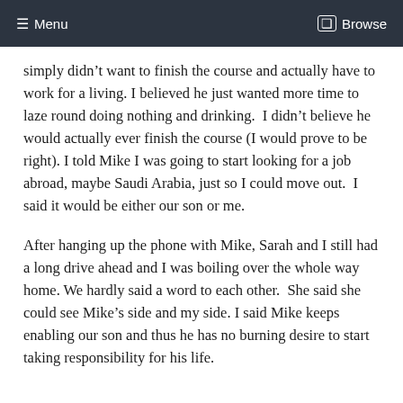≡ Menu    ❒ Browse
simply didn't want to finish the course and actually have to work for a living. I believed he just wanted more time to laze round doing nothing and drinking.  I didn't believe he would actually ever finish the course (I would prove to be right). I told Mike I was going to start looking for a job abroad, maybe Saudi Arabia, just so I could move out.  I said it would be either our son or me.
After hanging up the phone with Mike, Sarah and I still had a long drive ahead and I was boiling over the whole way home. We hardly said a word to each other.  She said she could see Mike's side and my side. I said Mike keeps enabling our son and thus he has no burning desire to start taking responsibility for his life.